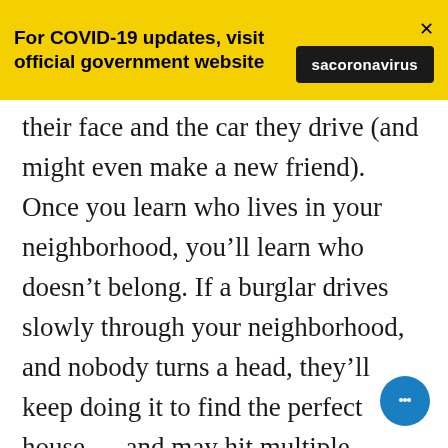For COVID-19 updates, visit official government website | sacoronavirus
their face and the car they drive (and might even make a new friend). Once you learn who lives in your neighborhood, you’ll learn who doesn’t belong. If a burglar drives slowly through your neighborhood, and nobody turns a head, they’ll keep doing it to find the perfect house — and may hit multiple houses in the same night (or day). When you’re settling in for the night, be sure to lock all of your windows. If you tend to open your windows through the day in the spring